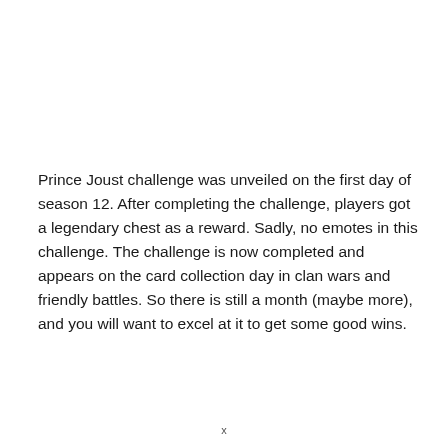Prince Joust challenge was unveiled on the first day of season 12. After completing the challenge, players got a legendary chest as a reward. Sadly, no emotes in this challenge. The challenge is now completed and appears on the card collection day in clan wars and friendly battles. So there is still a month (maybe more), and you will want to excel at it to get some good wins.
x